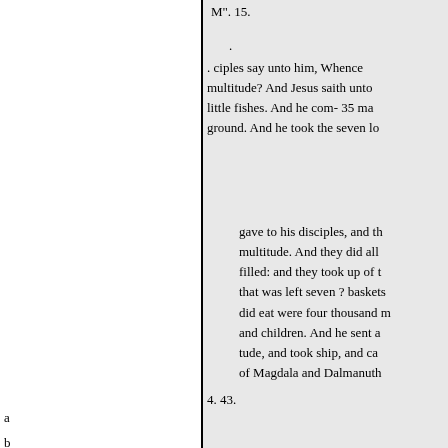M". 15.
.
. ciples say unto him, Whence multitude? And Jesus saith unto little fishes. And he com- 35 ma ground. And he took the seven lo
gave to his disciples, and th multitude. And they did all filled: and they took up of t that was left seven ? baskets did eat were four thousand m and children. And he sent a tude, and took ship, and ca of Magdala and Dalmanuth
4. 43.
a
b